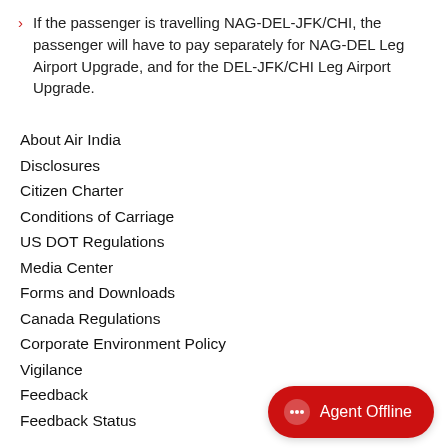If the passenger is travelling NAG-DEL-JFK/CHI, the passenger will have to pay separately for NAG-DEL Leg Airport Upgrade, and for the DEL-JFK/CHI Leg Airport Upgrade.
About Air India
Disclosures
Citizen Charter
Conditions of Carriage
US DOT Regulations
Media Center
Forms and Downloads
Canada Regulations
Corporate Environment Policy
Vigilance
Feedback
Feedback Status